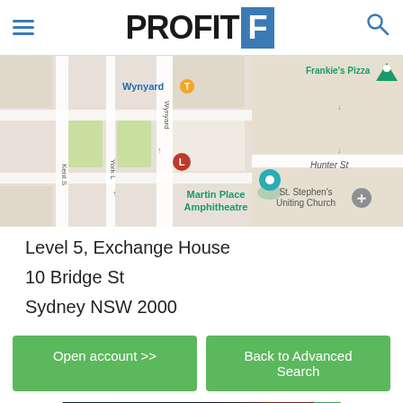[Figure (logo): Profit F logo with hamburger menu and search icon in header]
[Figure (map): Google Maps screenshot showing Martin Place Amphitheatre area in Sydney, with Wynyard station, Frankie's Pizza, St. Stephen's Uniting Church, Hunter St, Kent St, York Lane visible]
Level 5, Exchange House
10 Bridge St
Sydney NSW 2000
[Figure (other): Open account >> button (green)]
[Figure (other): Back to Advanced Search button (green)]
[Figure (screenshot): Pocket ad banner: MAKE your money work for you]
Go to FP Markets.com >>